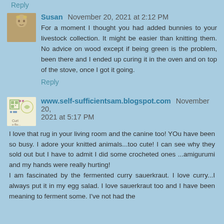Reply
Susan  November 20, 2021 at 2:12 PM
For a moment I thought you had added bunnies to your livestock collection. It might be easier than knitting them. No advice on wood except if being green is the problem, been there and I ended up curing it in the oven and on top of the stove, once I got it going.
Reply
www.self-sufficientsam.blogspot.com  November 20, 2021 at 5:17 PM
I love that rug in your living room and the canine too! YOu have been so busy. I adore your knitted animals...too cute! I can see why they sold out but I have to admit I did some crocheted ones ...amigurumi and my hands were really hurting!
I am fascinated by the fermented curry sauerkraut. I love curry...I always put it in my egg salad. I love sauerkraut too and I have been meaning to ferment some. I've not had the